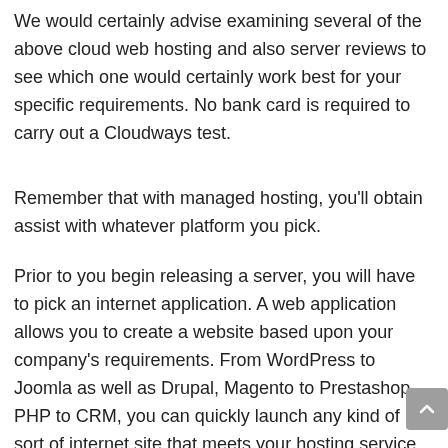We would certainly advise examining several of the above cloud web hosting and also server reviews to see which one would certainly work best for your specific requirements. No bank card is required to carry out a Cloudways test.
Remember that with managed hosting, you'll obtain assist with whatever platform you pick.
Prior to you begin releasing a server, you will have to pick an internet application. A web application allows you to create a website based upon your company's requirements. From WordPress to Joomla as well as Drupal, Magento to Prestashop, PHP to CRM, you can quickly launch any kind of sort of internet site that meets your hosting service